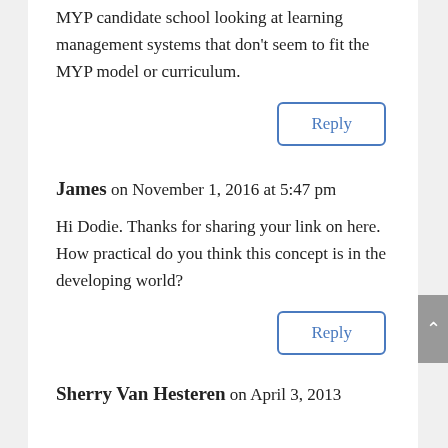MYP candidate school looking at learning management systems that don't seem to fit the MYP model or curriculum.
Reply
James on November 1, 2016 at 5:47 pm
Hi Dodie. Thanks for sharing your link on here. How practical do you think this concept is in the developing world?
Reply
Sherry Van Hesteren on April 3, 2013